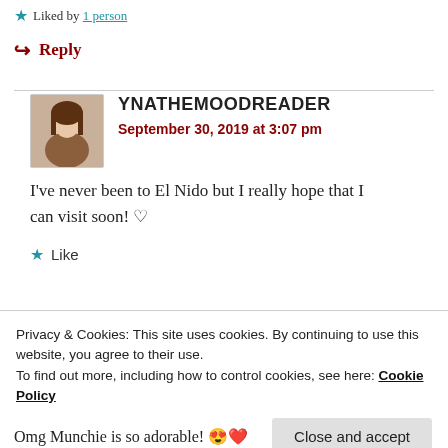Liked by 1 person
Reply
YNATHEMOODREADER
September 30, 2019 at 3:07 pm
I've never been to El Nido but I really hope that I can visit soon! ♡
Like
Privacy & Cookies: This site uses cookies. By continuing to use this website, you agree to their use.
To find out more, including how to control cookies, see here: Cookie Policy
Close and accept
Omg Munchie is so adorable! 😍❤️